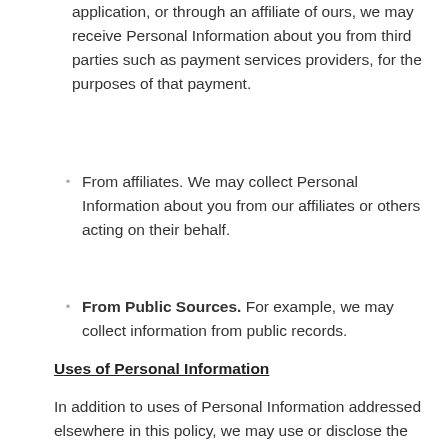application, or through an affiliate of ours, we may receive Personal Information about you from third parties such as payment services providers, for the purposes of that payment.
From affiliates. We may collect Personal Information about you from our affiliates or others acting on their behalf.
From Public Sources. For example, we may collect information from public records.
Uses of Personal Information
In addition to uses of Personal Information addressed elsewhere in this policy, we may use or disclose the Personal Information we collect for